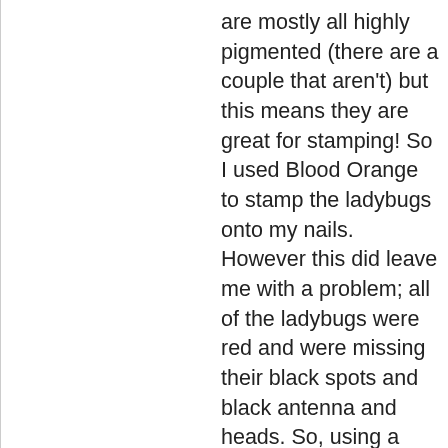are mostly all highly pigmented (there are a couple that aren't) but this means they are great for stamping! So I used Blood Orange to stamp the ladybugs onto my nails. However this did leave me with a problem; all of the ladybugs were red and were missing their black spots and black antenna and heads. So, using a fine paintbrush and a dotting tool, I added the black details using Liquid Leather . To finish it off I used a dotting tool again and made different sized dots on my index and pinky fingers. Then I added another coat of Seche Vite to seal it all in.
I hope you liked it and big thank you to Rachel for giving me the chance to guest post!
Take care!